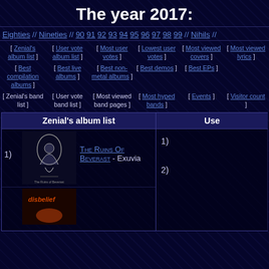The year 2017:
Eighties // Nineties // 90 91 92 93 94 95 96 97 98 99 // Nihils //
[ Zenial's album list ] [ User vote album list ] [ Most user votes ] [ Lowest user votes ] [ Most viewed covers ] [ Most viewed lyrics ]
[ Best compilation albums ] [ Best live albums ] [ Best non-metal albums ] [ Best demos ] [ Best EPs ]
[ Zenial's band list ] [ User vote band list ] [ Most viewed band pages ] [ Most hyped bands ] [ Events ] [ Visitor count ]
| Zenial's album list | Use... |
| --- | --- |
| 1) The Ruins Of Beverast - Exuvia | 1) |
| 2) [disbelief album] | 2) |